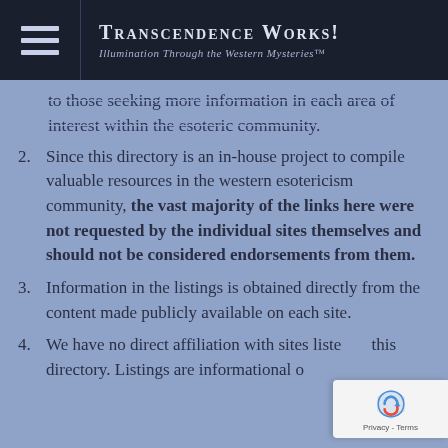Transcendence Works! Illumination Through the Western Mysteries™
to those seeking more information in each area of interest within the esoteric community.
2. Since this directory is an in-house project to compile valuable resources in the western esotericism community, the vast majority of the links here were not requested by the individual sites themselves and should not be considered endorsements from them.
3. Information in the listings is obtained directly from the content made publicly available on each site.
4. We have no direct affiliation with sites listed in this directory. Listings are informational o...